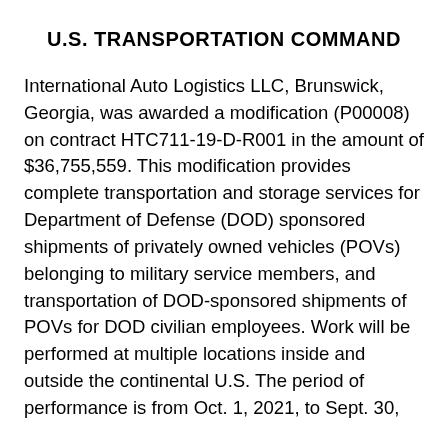U.S. TRANSPORTATION COMMAND
International Auto Logistics LLC, Brunswick, Georgia, was awarded a modification (P00008) on contract HTC711-19-D-R001 in the amount of $36,755,559. This modification provides complete transportation and storage services for Department of Defense (DOD) sponsored shipments of privately owned vehicles (POVs) belonging to military service members, and transportation of DOD-sponsored shipments of POVs for DOD civilian employees. Work will be performed at multiple locations inside and outside the continental U.S. The period of performance is from Oct. 1, 2021, to Sept. 30,